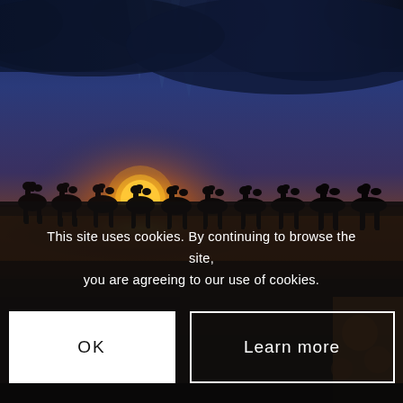[Figure (photo): A row of camel silhouettes walking along a wet beach at sunset, with a dramatic orange and yellow sunset on the horizon and dark storm clouds above. The camels and their riders are silhouetted against the glowing sky, their reflections visible in the wet sand.]
This site uses cookies. By continuing to browse the site, you are agreeing to our use of cookies.